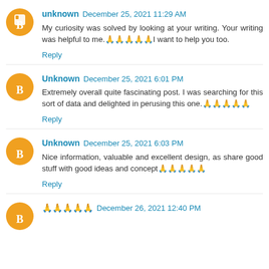unknown December 25, 2021 11:29 AM
My curiosity was solved by looking at your writing. Your writing was helpful to me.🙏🙏🙏🙏🙏I want to help you too.
Reply
Unknown December 25, 2021 6:01 PM
Extremely overall quite fascinating post. I was searching for this sort of data and delighted in perusing this one.🙏🙏🙏🙏🙏
Reply
Unknown December 25, 2021 6:03 PM
Nice information, valuable and excellent design, as share good stuff with good ideas and concept🙏🙏🙏🙏🙏
Reply
🙏🙏🙏🙏🙏 December 26, 2021 12:40 PM